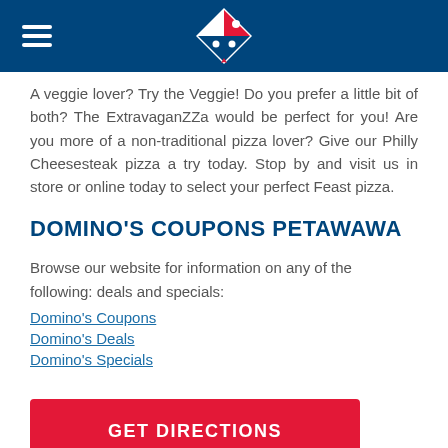[Figure (logo): Domino's Pizza logo on dark blue navigation header bar with hamburger menu icon on the left]
A veggie lover? Try the Veggie! Do you prefer a little bit of both? The ExtravaganZZa would be perfect for you! Are you more of a non-traditional pizza lover? Give our Philly Cheesesteak pizza a try today. Stop by and visit us in store or online today to select your perfect Feast pizza.
DOMINO'S COUPONS PETAWAWA
Browse our website for information on any of the following: deals and specials:
Domino's Coupons
Domino's Deals
Domino's Specials
[Figure (other): Red button with white bold text reading GET DIRECTIONS]